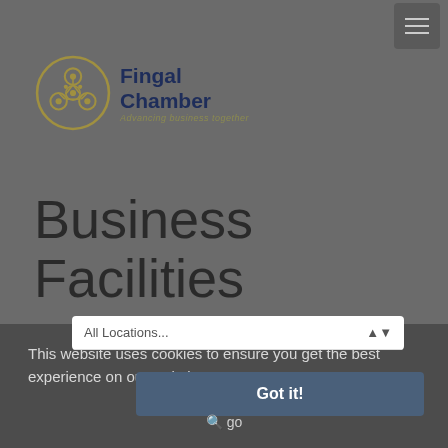[Figure (logo): Fingal Chamber logo: circular interconnected nodes icon in olive/gold color with text 'Fingal Chamber' in dark navy and tagline 'Advancing business together' in olive/gold]
Business Facilities
This website uses cookies to ensure you get the best experience on our website.  Learn more
All Locations...
Got it!
go